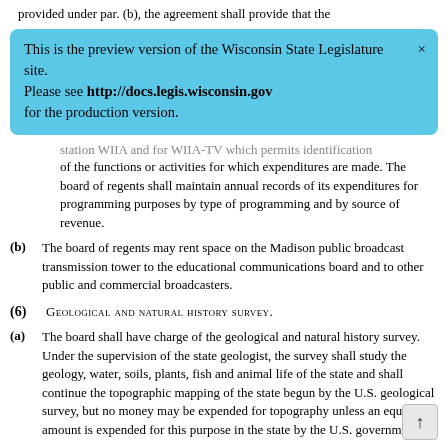provided under par. (b), the agreement shall provide that the
[Figure (screenshot): Preview banner: 'This is the preview version of the Wisconsin State Legislature site. Please see http://docs.legis.wisconsin.gov for the production version.' with a close X button, styled with a light blue background.]
station WIIA and for WIIA-TV which permits identification of the functions or activities for which expenditures are made. The board of regents shall maintain annual records of its expenditures for programming purposes by type of programming and by source of revenue.
(b) The board of regents may rent space on the Madison public broadcast transmission tower to the educational communications board and to other public and commercial broadcasters.
(6) Geological and natural history survey.
(a) The board shall have charge of the geological and natural history survey. Under the supervision of the state geologist, the survey shall study the geology, water, soils, plants, fish and animal life of the state and shall continue the topographic mapping of the state begun by the U.S. geological survey, but no money may be expended for topography unless an equivalent amount is expended for this purpose in the state by the U.S. government.
(b) The state geologist shall examine the lands of the state an